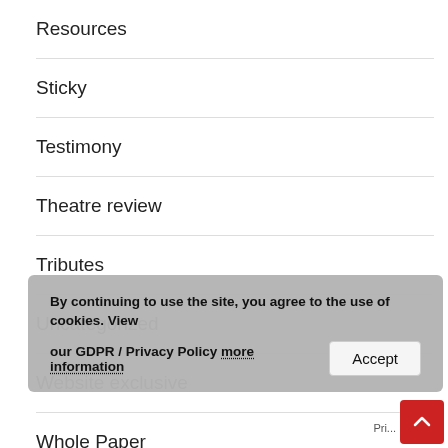Resources
Sticky
Testimony
Theatre review
Tributes
Uncategorized
Website exclusive
Whole Paper
World
By continuing to use the site, you agree to the use of cookies. View our GDPR / Privacy Policy more information
Accept